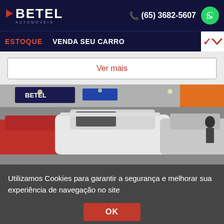[Figure (logo): Betel Automóveis logo with red arrow chevron on dark navy background]
(65) 3682-5607
[Figure (logo): WhatsApp green circular icon]
ESTOQUE   VENDA SEU CARRO
Ver mais
[Figure (photo): Car dealership interior showing rows of cars including white and red vehicles with store signage visible in background]
Utilizamos Cookies para garantir a segurança e melhorar sua experiência de navegação no site
OK